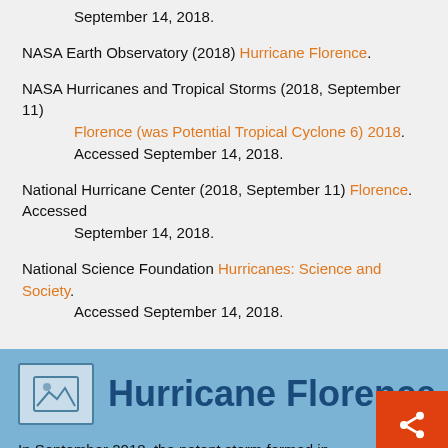September 14, 2018.
NASA Earth Observatory (2018) Hurricane Florence.
NASA Hurricanes and Tropical Storms (2018, September 11) Florence (was Potential Tropical Cyclone 6) 2018. Accessed September 14, 2018.
National Hurricane Center (2018, September 11) Florence. Accessed September 14, 2018.
National Science Foundation Hurricanes: Science and Society. Accessed September 14, 2018.
[Figure (illustration): Image placeholder icon with mountain/landscape symbol]
Hurricane Florence
In September 2018, the potent storm formed in the North Atl… and made an historic and deadly landfall in the southeastern United States.